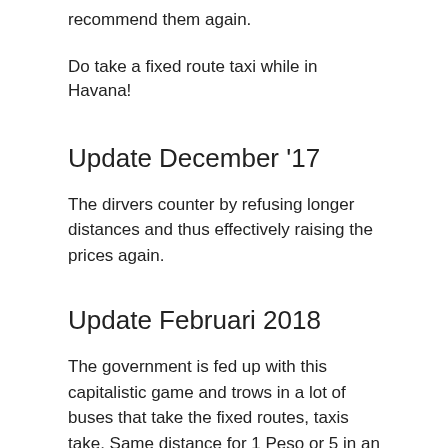recommend them again.
Do take a fixed route taxi while in Havana!
Update December '17
The dirvers counter by refusing longer distances and thus effectively raising the prices again.
Update Februari 2018
The government is fed up with this capitalistic game and trows in a lot of buses that take the fixed routes, taxis take. Same distance for 1 Peso or 5 in an airco bus. No more people looking for rides. Taxis half empty. They are loosing the fight they started.